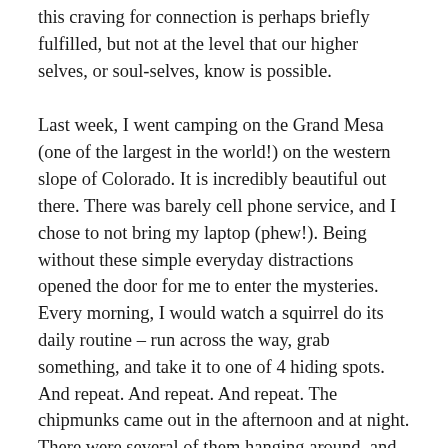this craving for connection is perhaps briefly fulfilled, but not at the level that our higher selves, or soul-selves, know is possible.
Last week, I went camping on the Grand Mesa (one of the largest in the world!) on the western slope of Colorado. It is incredibly beautiful out there. There was barely cell phone service, and I chose to not bring my laptop (phew!). Being without these simple everyday distractions opened the door for me to enter the mysteries. Every morning, I would watch a squirrel do its daily routine – run across the way, grab something, and take it to one of 4 hiding spots. And repeat. And repeat. And repeat. The chipmunks came out in the afternoon and at night. There were several of them hanging around, and they acted as my cute little audience when I played the native flute. On our way off the Mesa, we stopped to sky dive! It was my second time and was definitely more